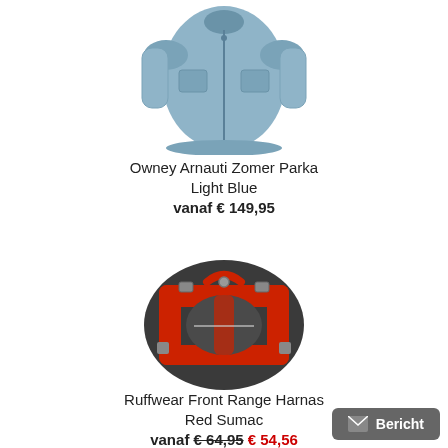[Figure (photo): Light blue Owney Arnauti Zomer Parka jacket product image]
Owney Arnauti Zomer Parka Light Blue
vanaf € 149,95
[Figure (photo): Red Ruffwear Front Range dog harness product image]
Ruffwear Front Range Harnas Red Sumac
vanaf € 64,95 € 54,56